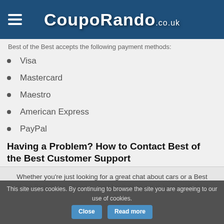CoupoRando.co.uk
Best of the Best accepts the following payment methods:
Visa
Mastercard
Maestro
American Express
PayPal
Having a Problem? How to Contact Best of the Best Customer Support
Whether you're just looking for a great chat about cars or a Best of the Best discount code, don't hesitate to get in touch with Best of the Best:
This site uses cookies. By continuing to browse the site you are agreeing to our use of cookies.